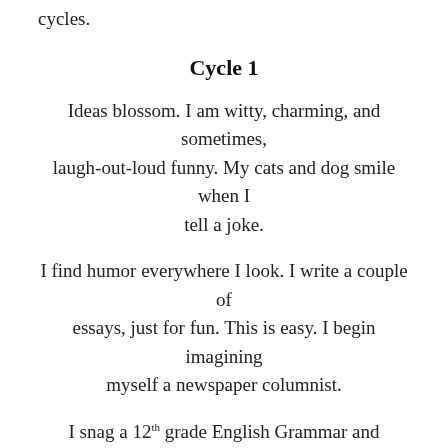cycles.
Cycle 1
Ideas blossom. I am witty, charming, and sometimes, laugh-out-loud funny. My cats and dog smile when I tell a joke.
I find humor everywhere I look. I write a couple of essays, just for fun. This is easy. I begin imagining myself a newspaper columnist.
I snag a 12th grade English Grammar and Composition textbook, last checked out in 1982. It takes me back to Creative Writing with Mrs. Larson. I review (and quickly forget) participles, gerunds and